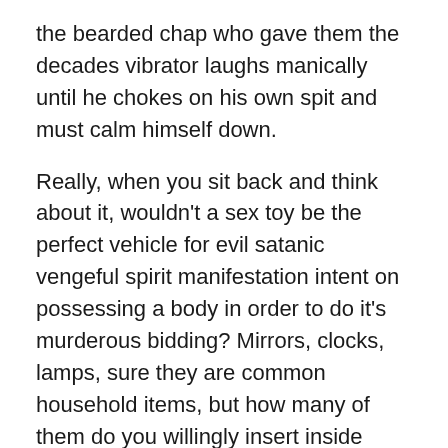the bearded chap who gave them the decades vibrator laughs manically until he chokes on his own spit and must calm himself down.
Really, when you sit back and think about it, wouldn't a sex toy be the perfect vehicle for evil satanic vengeful spirit manifestation intent on possessing a body in order to do it's murderous bidding? Mirrors, clocks, lamps, sure they are common household items, but how many of them do you willingly insert inside yourself repeatedly therefore creating an easy pathway for demonic entities? It's like Satan's diabolical pièce de résistance, if you can find someone horny enough to stick an antique vibrator within their most sacred of orifices, and truly IS a fitting cursed item in the franchise.
“We Managed to track down and inventory all these